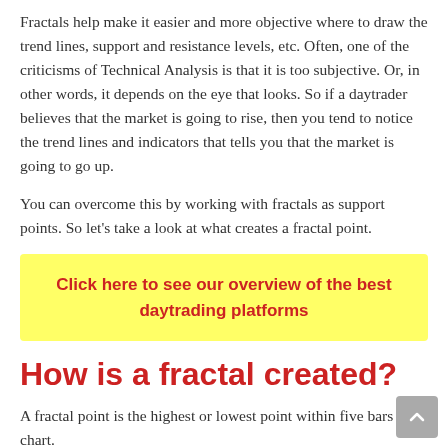Fractals help make it easier and more objective where to draw the trend lines, support and resistance levels, etc. Often, one of the criticisms of Technical Analysis is that it is too subjective. Or, in other words, it depends on the eye that looks. So if a daytrader believes that the market is going to rise, then you tend to notice the trend lines and indicators that tells you that the market is going to go up.
You can overcome this by working with fractals as support points. So let’s take a look at what creates a fractal point.
Click here to see our overview of the best daytrading platforms
How is a fractal created?
A fractal point is the highest or lowest point within five bars on a chart.